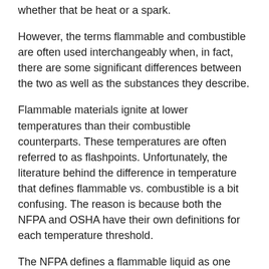whether that be heat or a spark.
However, the terms flammable and combustible are often used interchangeably when, in fact, there are some significant differences between the two as well as the substances they describe.
Flammable materials ignite at lower temperatures than their combustible counterparts. These temperatures are often referred to as flashpoints. Unfortunately, the literature behind the difference in temperature that defines flammable vs. combustible is a bit confusing. The reason is because both the NFPA and OSHA have their own definitions for each temperature threshold.
The NFPA defines a flammable liquid as one that has a flash point below 100°F (37.8°C) proven by the closed-cup test method. A combustible liquid is defined as having a flash point that is at 100°F (37.8°C) or higher. These are established as flammable liquid classes.
On the other hand, OSHA defines a flammable liquid as one that has